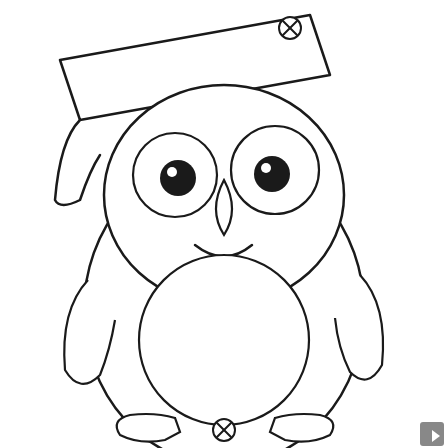[Figure (illustration): A coloring-book style line drawing of a cartoon penguin wearing a graduation cap (mortarboard). The penguin has large round eyes with dark pupils, a rounded beak, a smiling mouth, stubby wings at its sides, a large circular belly, and two flat feet at the bottom. Two circular crosshair/target markers (circles with an X) appear: one near the top of the graduation cap, one at the bottom center below the feet. A small gray arrow/button is visible in the bottom-right corner. The drawing is black outlines on white background.]